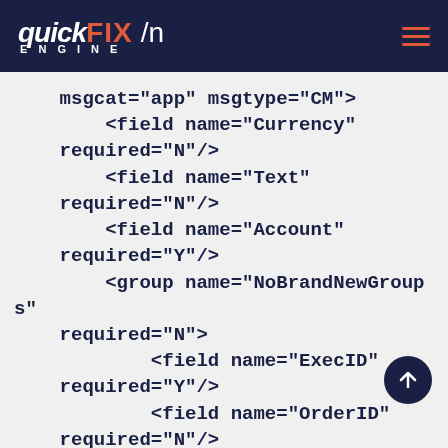quickFIX /n ENGINE
msgcat="app" msgtype="CM">
        <field name="Currency"
    required="N"/>
        <field name="Text"
    required="N"/>
        <field name="Account"
    required="Y"/>
        <group name="NoBrandNewGroups"
    required="N">
            <field name="ExecID"
    required="Y"/>
            <field name="OrderID"
    required="N"/>